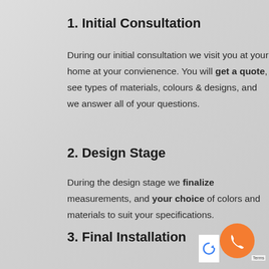1. Initial Consultation
During our initial consultation we visit you at your home at your convienence. You will get a quote, see types of materials, colours & designs, and we answer all of your questions.
2. Design Stage
During the design stage we finalize measurements, and your choice of colors and materials to suit your specifications.
3. Final Installation
At the final installation we carefully place & finish your countertops complete with sinks and cleantu...